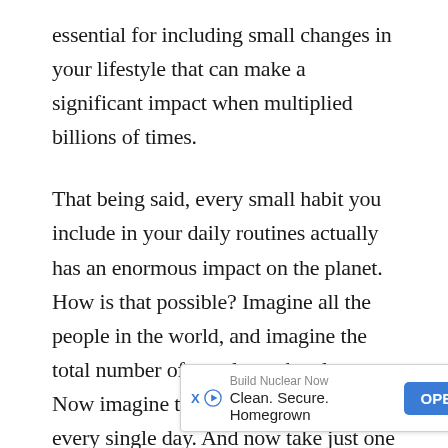essential for including small changes in your lifestyle that can make a significant impact when multiplied billions of times.
That being said, every small habit you include in your daily routines actually has an enormous impact on the planet. How is that possible? Imagine all the people in the world, and imagine the total number of people on the planet. Now imagine this number growing every single day. And now take just one habit, one small habit such as replacing your plastic bags with eco-friendly bags, [number of...]
[Figure (other): Advertisement overlay: 'Build Nuclear Now / Clean. Secure. Homegrown' with OPEN button, Close X button, and ad icons]